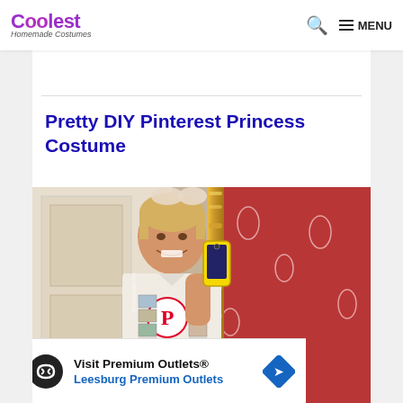Coolest Homemade Costumes — MENU
Pretty DIY Pinterest Princess Costume
[Figure (photo): A young blonde woman in a DIY Pinterest Princess costume, consisting of a white button-up shirt decorated with a large Pinterest logo and printed photo pins hanging from it. She is taking a mirror selfie with a yellow smartphone, wearing a bow in her hair. The background shows a ornate gold-framed mirror and red toile wallpaper. Watermark reads @coolest-ho]
[Figure (screenshot): Advertisement for Visit Premium Outlets — Leesburg Premium Outlets, with black circle logo with infinity symbol and blue diamond navigation icon]